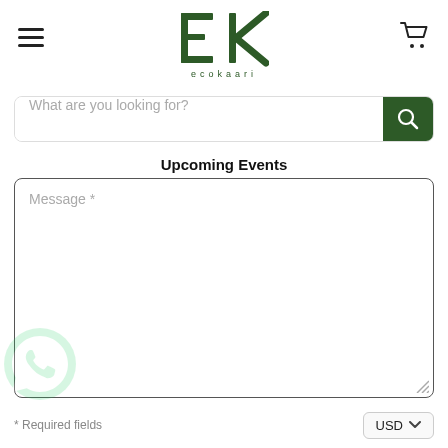[Figure (logo): Ecokaari logo with stylized EK monogram in dark green and text 'ecokaari' below]
What are you looking for?
Upcoming Events
Message *
* Required fields
USD